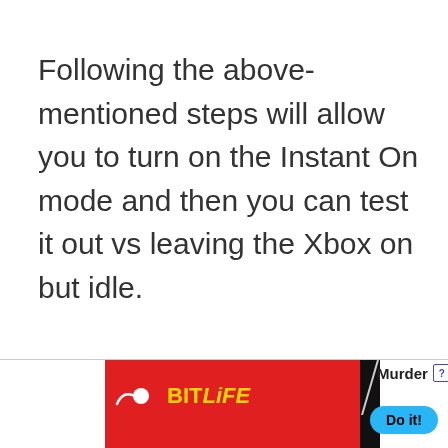Following the above-mentioned steps will allow you to turn on the Instant On mode and then you can test it out vs leaving the Xbox on but idle.
[Figure (other): Advertisement banner for BitLife mobile game showing red background with BitLife logo, a diagonal slash graphic, 'Murder' text with help and close buttons, and a 'Do it!' blue button.]